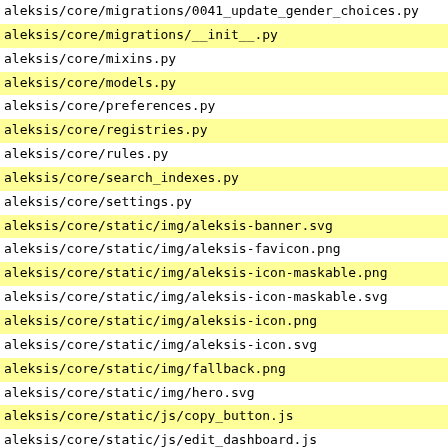aleksis/core/migrations/0041_update_gender_choices.py
aleksis/core/migrations/__init__.py
aleksis/core/mixins.py
aleksis/core/models.py
aleksis/core/preferences.py
aleksis/core/registries.py
aleksis/core/rules.py
aleksis/core/search_indexes.py
aleksis/core/settings.py
aleksis/core/static/img/aleksis-banner.svg
aleksis/core/static/img/aleksis-favicon.png
aleksis/core/static/img/aleksis-icon-maskable.png
aleksis/core/static/img/aleksis-icon-maskable.svg
aleksis/core/static/img/aleksis-icon.png
aleksis/core/static/img/aleksis-icon.svg
aleksis/core/static/img/fallback.png
aleksis/core/static/img/hero.svg
aleksis/core/static/js/copy_button.js
aleksis/core/static/js/edit_dashboard.js
aleksis/core/static/js/helper.js
aleksis/core/static/js/include_ajax_live.js
aleksis/core/static/js/main.js
aleksis/core/static/js/multi_select.js
aleksis/core/static/js/progress.js